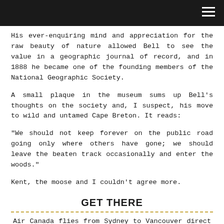[Navigation bar]
His ever-enquiring mind and appreciation for the raw beauty of nature allowed Bell to see the value in a geographic journal of record, and in 1888 he became one of the founding members of the National Geographic Society.
A small plaque in the museum sums up Bell's thoughts on the society and, I suspect, his move to wild and untamed Cape Breton. It reads:
“We should not keep forever on the public road going only where others have gone; we should leave the beaten track occasionally and enter the woods.”
Kent, the moose and I couldn’t agree more.
GET THERE
Air Canada flies from Sydney to Vancouver direct with onward connections to Halifax, an hour’s drive to the